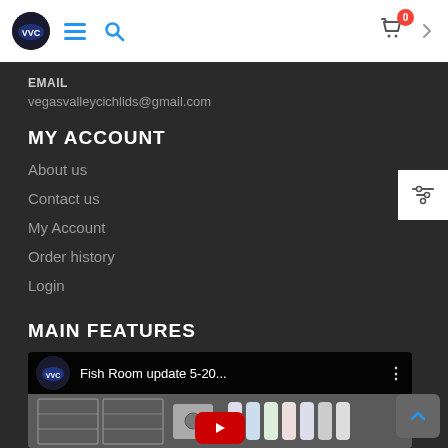Navigation bar with logo, hamburger menu, search icon, cart (0 items)
EMAIL
vegasvalleycichlids@gmail.com
MY ACCOUNT
About us
Contact us
My Account
Order history
Login
MAIN FEATURES
[Figure (screenshot): YouTube video thumbnail showing 'Fish Room update 5-20...' with Vegas Valley Cichlids channel logo, video content visible below showing fish room equipment, and a red play button at the bottom]